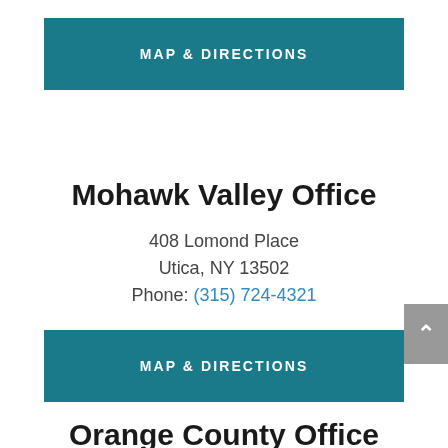[Figure (other): MAP & DIRECTIONS button (teal background, white uppercase bold text)]
Mohawk Valley Office
408 Lomond Place
Utica, NY 13502
Phone: (315) 724-4321
[Figure (other): MAP & DIRECTIONS button (teal background, white uppercase bold text)]
Orange County Office